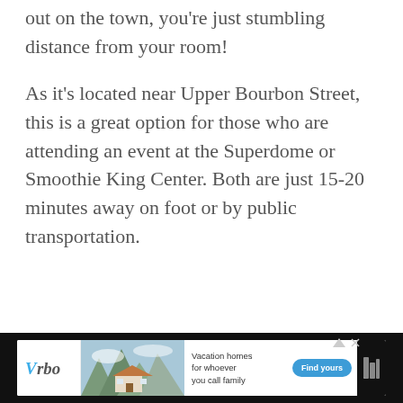out on the town, you're just stumbling distance from your room!
As it's located near Upper Bourbon Street, this is a great option for those who are attending an event at the Superdome or Smoothie King Center. Both are just 15-20 minutes away on foot or by public transportation.
[Figure (other): Vrbo advertisement banner: Vrbo logo on left, mountain vacation home photo in center, text 'Vacation homes for whoever you call family' with blue 'Find yours' button, dark background with sponsor icon on right.]